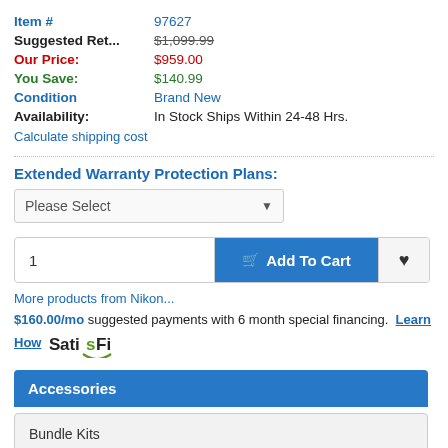| Item # | 97627 |
| Suggested Ret... | $1,099.99 |
| Our Price: | $959.00 |
| You Save: | $140.99 |
| Condition | Brand New |
| Availability: | In Stock Ships Within 24-48 Hrs. |
Calculate shipping cost
Extended Warranty Protection Plans:
Please Select (dropdown)
1  Add To Cart (button with heart)
More products from Nikon...
$160.00/mo suggested payments with 6 month special financing. Learn How SatisFi
Accessories
Bundle Kits